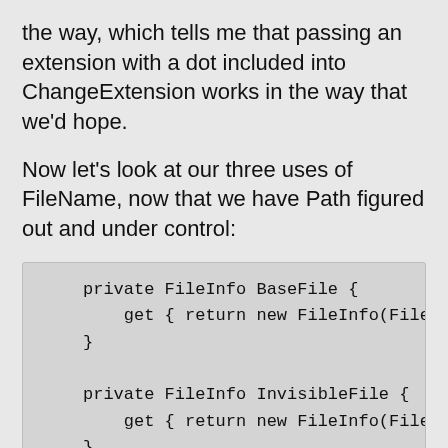the way, which tells me that passing an extension with a dot included into ChangeExtension works in the way that we'd hope.
Now let's look at our three uses of FileName, now that we have Path figured out and under control:
private FileInfo BaseFile {
    get { return new FileInfo(FileN
}

private FileInfo InvisibleFile {
    get { return new FileInfo(FileN
}